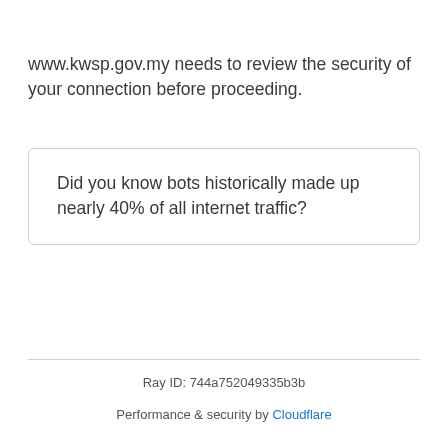www.kwsp.gov.my needs to review the security of your connection before proceeding.
Did you know bots historically made up nearly 40% of all internet traffic?
Ray ID: 744a752049335b3b
Performance & security by Cloudflare